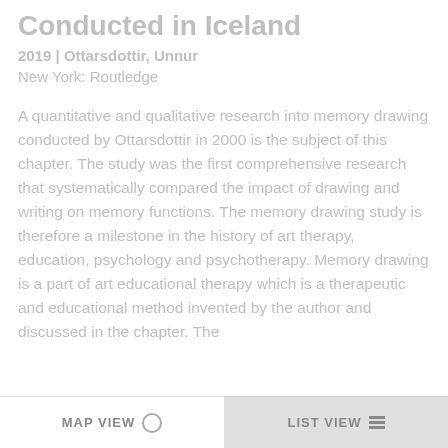Conducted in Iceland
2019 | Ottarsdottir, Unnur
New York: Routledge
A quantitative and qualitative research into memory drawing conducted by Ottarsdottir in 2000 is the subject of this chapter. The study was the first comprehensive research that systematically compared the impact of drawing and writing on memory functions. The memory drawing study is therefore a milestone in the history of art therapy, education, psychology and psychotherapy. Memory drawing is a part of art educational therapy which is a therapeutic and educational method invented by the author and discussed in the chapter. The
MAP VIEW    LIST VIEW